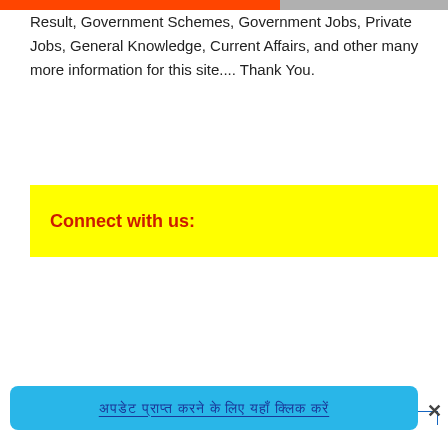Result, Government Schemes, Government Jobs, Private Jobs, General Knowledge, Current Affairs, and other many more information for this site.... Thank You.
Connect with us:
| WhatsApp Group | : Get Details |
| Telegram Channel | : Get Details |
| Android Application | : Download |
| Join Group (Email Alerts) | : Get Details |
| Facebook Page | : Get Details |
अपडेट प्राप्त करने के लिए यहाँ क्लिक करें